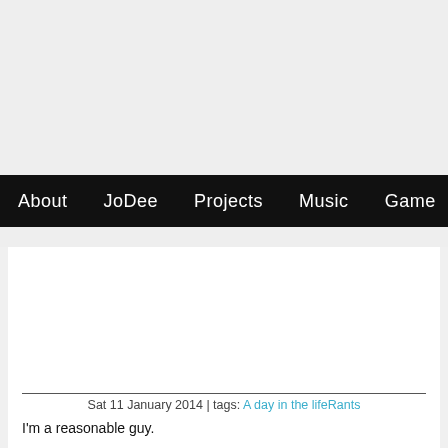About  JoDee  Projects  Music  Game
Sat 11 January 2014 | tags: A day in the life Rants
I'm a reasonable guy.
I start with this because I like to think that I'm not an unreasonable person. Do right by me and I'll be satisfied. But make me jump through hoops and I'll be very disappointed